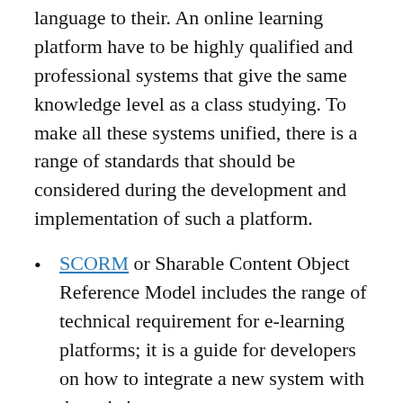language to their. An online learning platform have to be highly qualified and professional systems that give the same knowledge level as a class studying. To make all these systems unified, there is a range of standards that should be considered during the development and implementation of such a platform.
SCORM or Sharable Content Object Reference Model includes the range of technical requirement for e-learning platforms; it is a guide for developers on how to integrate a new system with the existing ones;
xAPI – it helps to unite all information that will be available on the course and make it accessible for all users; it also provides